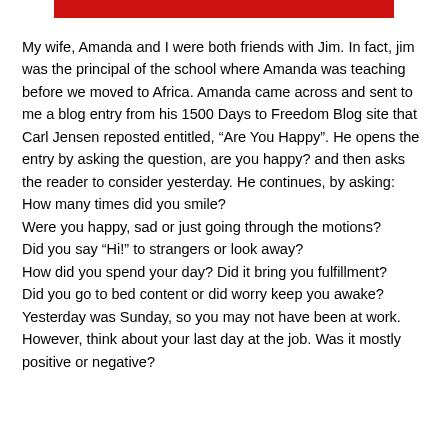[Figure (other): Red horizontal bar at the top of the page]
My wife, Amanda and I were both friends with Jim. In fact, jim was the principal of the school where Amanda was teaching before we moved to Africa. Amanda came across and sent to me a blog entry from his 1500 Days to Freedom Blog site that Carl Jensen reposted entitled, “Are You Happy”. He opens the entry by asking the question, are you happy? and then asks the reader to consider yesterday. He continues, by asking:
How many times did you smile?
Were you happy, sad or just going through the motions?
Did you say “Hi!” to strangers or look away?
How did you spend your day? Did it bring you fulfillment?
Did you go to bed content or did worry keep you awake?
Yesterday was Sunday, so you may not have been at work. However, think about your last day at the job. Was it mostly positive or negative?